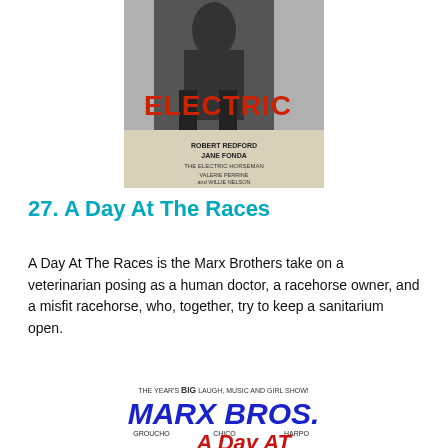[Figure (photo): Movie poster for The Electric Horseman showing a person in an electric suit with the word ELECTRIC in large red letters, starring Robert Redford and Jane Fonda]
27. A Day At The Races
A Day At The Races is the Marx Brothers take on a veterinarian posing as a human doctor, a racehorse owner, and a misfit racehorse, who, together, try to keep a sanitarium open.
[Figure (photo): Movie poster for A Day At The Races featuring Marx Bros. (Groucho, Chico, Harpo) with text reading THE YEAR'S BIG LAUGH, MUSIC AND GIRL SHOW! in blue and red lettering]